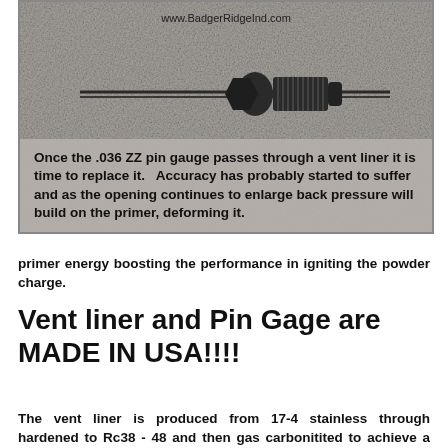[Figure (photo): Photo of a pin gauge tool (ZZ pin gauge) against a textured gray background with website URL www.BadgerRidgeInd.com, and overlaid text explaining when to replace a vent liner.]
primer energy boosting the performance in igniting the powder charge.
Vent liner and Pin Gage are MADE IN USA!!!!
The vent liner is produced from 17-4 stainless through hardened to Rc38 - 48 and then gas carbonitited to achieve a surface hardness of Rc60